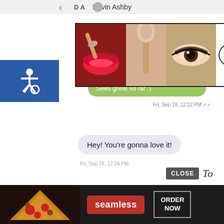Devin Ashby
[Figure (screenshot): Ulta Beauty advertisement banner showing makeup images and SHOP NOW button]
Sees great so far :)
Fri, Sep 18, 12:22 PM
Hey! You're gonna love it!
Fri, Sep 18, 12:24 PM
[Figure (screenshot): CLOSE button overlay and handwritten text]
[Figure (screenshot): Seamless food delivery advertisement banner with ORDER NOW button]